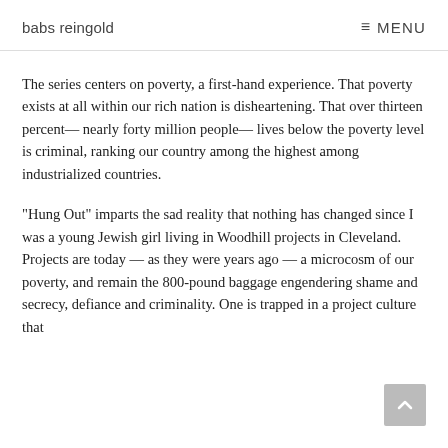babs reingold   MENU
The series centers on poverty, a first-hand experience. That poverty exists at all within our rich nation is disheartening. That over thirteen percent— nearly forty million people— lives below the poverty level is criminal, ranking our country among the highest among industrialized countries.
“Hung Out” imparts the sad reality that nothing has changed since I was a young Jewish girl living in Woodhill projects in Cleveland. Projects are today — as they were years ago — a microcosm of our poverty, and remain the 800-pound baggage engendering shame and secrecy, defiance and criminality. One is trapped in a project culture that